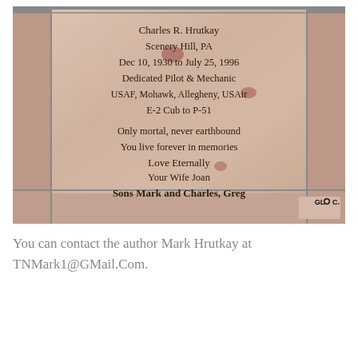[Figure (photo): A photograph of a memorial brick/tile plaque with the inscription: Charles R. Hrutkay, Scenery Hill, PA, Dec 10, 1930 to July 25, 1996, Dedicated Pilot & Mechanic, USAF, Mohawk, Allegheny, USAir, E-2 Cub to P-51, Only mortal, never earthbound, You live forever in memories, Love Eternally, Your Wife Joan, Sons Mark and Charles, Greg. A GLOC logo appears in the lower right corner. The plaque is set among other marble/stone tiles.]
You can contact the author Mark Hrutkay at TNMark1@GMail.Com.